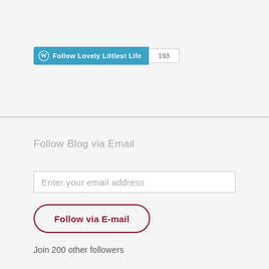[Figure (screenshot): WordPress Follow button widget showing 'Follow Lovely Littlest Life' in teal/blue with WordPress logo, and follower count badge showing 193]
Follow Blog via Email
Enter your email address
Follow via E-mail
Join 200 other followers